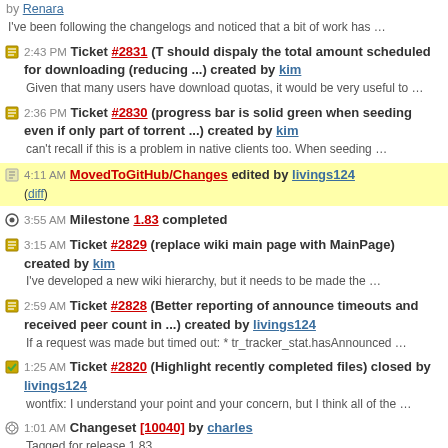by Renara — I've been following the changelogs and noticed that a bit of work has …
2:43 PM Ticket #2831 (T should dispaly the total amount scheduled for downloading (reducing ...) created by kim — Given that many users have download quotas, it would be very useful to …
2:36 PM Ticket #2830 (progress bar is solid green when seeding even if only part of torrent ...) created by kim — can't recall if this is a problem in native clients too. When seeding …
4:11 AM MovedToGitHub/Changes edited by livings124 (diff)
3:55 AM Milestone 1.83 completed
3:15 AM Ticket #2829 (replace wiki main page with MainPage) created by kim — I've developed a new wiki hierarchy, but it needs to be made the …
2:59 AM Ticket #2828 (Better reporting of announce timeouts and received peer count in ...) created by livings124 — If a request was made but timed out: * tr_tracker_stat.hasAnnounced …
1:25 AM Ticket #2820 (Highlight recently completed files) closed by livings124 — wontfix: I understand your point and your concern, but I think all of the …
1:01 AM Changeset [10040] by charles — Tagged for release 1.83